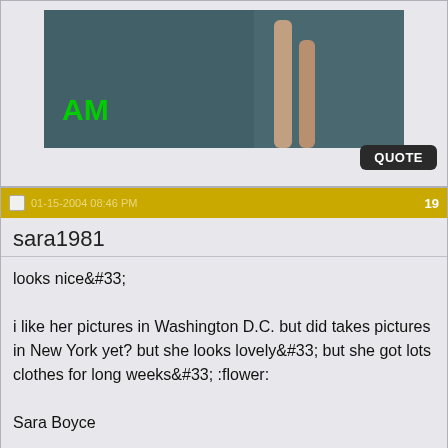[Figure (photo): Partial forum post top showing a photo with green AM text overlay and a silhouette figure]
QUOTE
01-15-2004 08:46 PM
19
sara1981
looks nice&#33;

i like her pictures in Washington D.C. but did takes pictures in New York yet? but she looks lovely&#33; but she got lots clothes for long weeks&#33; :flower:

Sara Boyce
QUOTE
01-15-2004 10:46 PM
20
lasu